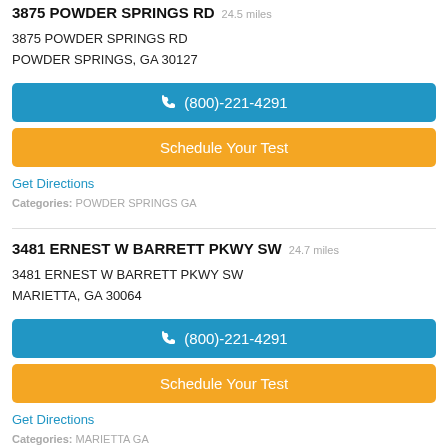3875 POWDER SPRINGS RD 24.5 miles
3875 POWDER SPRINGS RD
POWDER SPRINGS, GA 30127
(800)-221-4291
Schedule Your Test
Get Directions
Categories: POWDER SPRINGS GA
3481 ERNEST W BARRETT PKWY SW 24.7 miles
3481 ERNEST W BARRETT PKWY SW
MARIETTA, GA 30064
(800)-221-4291
Schedule Your Test
Get Directions
Categories: MARIETTA GA